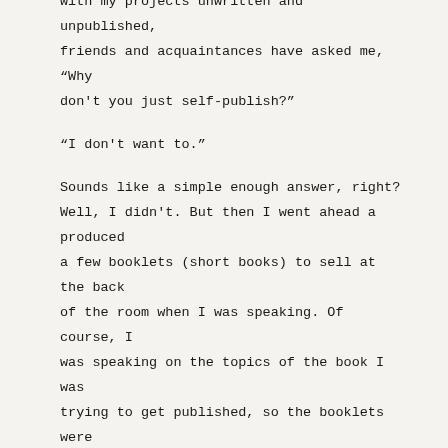with my projects unwritten and unpublished, friends and acquaintances have asked me, “Why don't you just self-publish?"
“I don't want to.”
Sounds like a simple enough answer, right? Well, I didn't. But then I went ahead a produced a few booklets (short books) to sell at the back of the room when I was speaking. Of course, I was speaking on the topics of the book I was trying to get published, so the booklets were like mini versions of these books. And why was I speaking on these topics? To build a platform. I didn't see these booklets as self-publishing ventures, but they were.